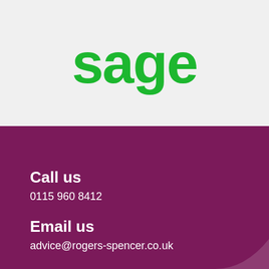[Figure (logo): Sage logo in green bold lowercase text on light grey background]
Call us
0115 960 8412
Email us
advice@rogers-spencer.co.uk